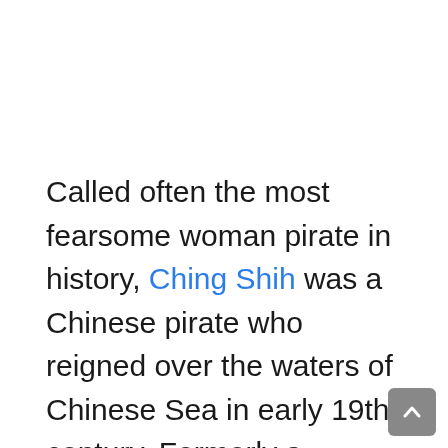Called often the most fearsome woman pirate in history, Ching Shih was a Chinese pirate who reigned over the waters of Chinese Sea in early 19th century. Formerly a prostitute, she was captured by pirates in 1801 and married the captain of the gang, Zheng Yi. She took the command of the fleet, named Red Flag Fleet, following the death of her husband, and attacked British and Chinese ships. Her fleet grew by many times of its formal size. The Chinese government